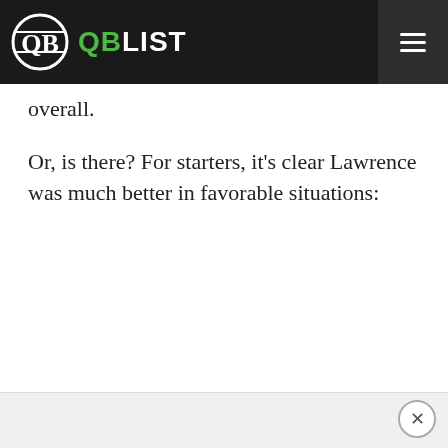QB LIST
overall.
Or, is there? For starters, it’s clear Lawrence was much better in favorable situations: